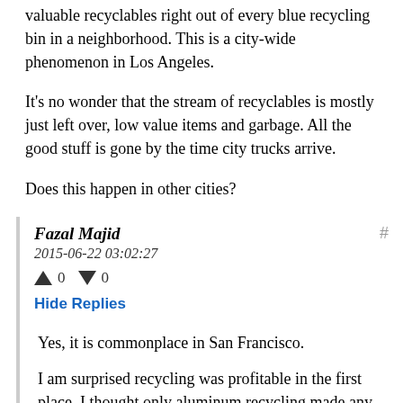valuable recyclables right out of every blue recycling bin in a neighborhood. This is a city-wide phenomenon in Los Angeles.
It's no wonder that the stream of recyclables is mostly just left over, low value items and garbage. All the good stuff is gone by the time city trucks arrive.
Does this happen in other cities?
Fazal Majid
2015-06-22 03:02:27
↑ 0 ↓ 0
Hide Replies
Yes, it is commonplace in San Francisco.
I am surprised recycling was profitable in the first place. I thought only aluminum recycling made any economic sense whatsoever.
A few months ago I was listening to RadioLab, and they had a feature called "Poop Train" on New York sewage. They used to